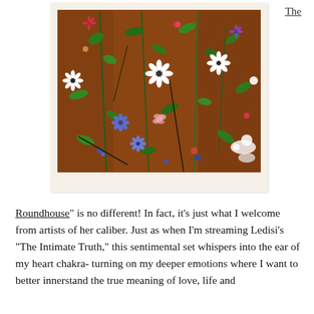The
[Figure (photo): A photograph of colorful flowers arranged on a rust/terracotta orange background. The flowers include white daisies, blue flowers, pink roses, and various green foliage, spread across the frame in a loose floral arrangement. The photo has a white border/mat around it giving it a polaroid-like appearance.]
Roundhouse" is no different! In fact, it's just what I welcome from artists of her caliber. Just as when I'm streaming Ledisi's “The Intimate Truth,” this sentimental set whispers into the ear of my heart chakra- turning on my deeper emotions where I want to better innerstand the true meaning of love, life and